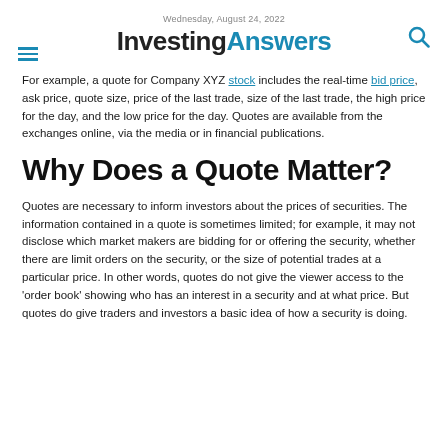Wednesday, August 24, 2022
[Figure (logo): InvestingAnswers logo with hamburger menu icon and search icon]
For example, a quote for Company XYZ stock includes the real-time bid price, ask price, quote size, price of the last trade, size of the last trade, the high price for the day, and the low price for the day. Quotes are available from the exchanges online, via the media or in financial publications.
Why Does a Quote Matter?
Quotes are necessary to inform investors about the prices of securities. The information contained in a quote is sometimes limited; for example, it may not disclose which market makers are bidding for or offering the security, whether there are limit orders on the security, or the size of potential trades at a particular price. In other words, quotes do not give the viewer access to the 'order book' showing who has an interest in a security and at what price. But quotes do give traders and investors a basic idea of how a security is doing.